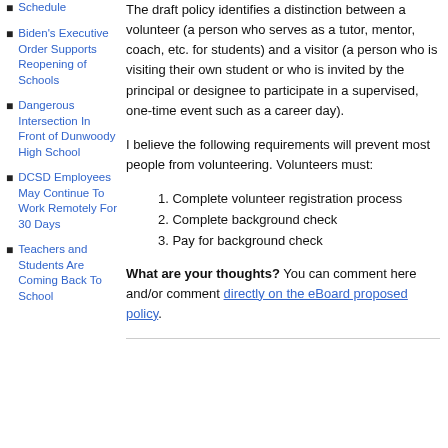Schedule
Biden's Executive Order Supports Reopening of Schools
Dangerous Intersection In Front of Dunwoody High School
DCSD Employees May Continue To Work Remotely For 30 Days
Teachers and Students Are Coming Back To School
The draft policy identifies a distinction between a volunteer (a person who serves as a tutor, mentor, coach, etc. for students) and a visitor (a person who is visiting their own student or who is invited by the principal or designee to participate in a supervised, one-time event such as a career day).
I believe the following requirements will prevent most people from volunteering. Volunteers must:
1. Complete volunteer registration process
2. Complete background check
3. Pay for background check
What are your thoughts? You can comment here and/or comment directly on the eBoard proposed policy.